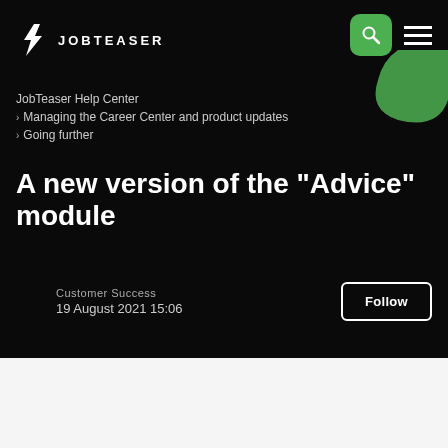[Figure (logo): JobTeaser logo with white lightning bolt icon and white uppercase text JOBTEASER]
JobTeaser Help Center
› Managing the Career Center and product updates
› Going further
A new version of the "Advice" module
Customer Success
19 August 2021 15:06